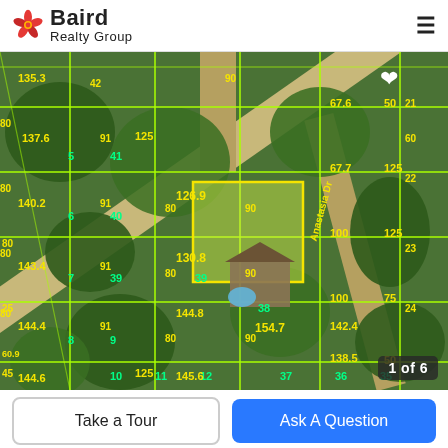Baird Realty Group
[Figure (map): Aerial/satellite parcel map with green grid lines overlaying lots. Yellow dimension numbers shown on parcels (e.g., 126.9, 130.8, 154.7, 144.4, 144.6, 138.5, 142.4, 145.6, 140.2, 143.4, 137.6, 125, 125, 100, 75, 67.6, 67.7, 50, etc.). A highlighted yellow parcel is visible near center. Roads labeled include 'Hercules' and 'Anastasia Dr'. A white heart icon in upper right of map. Counter badge '1 of 6' in lower right.]
Take a Tour
Ask A Question